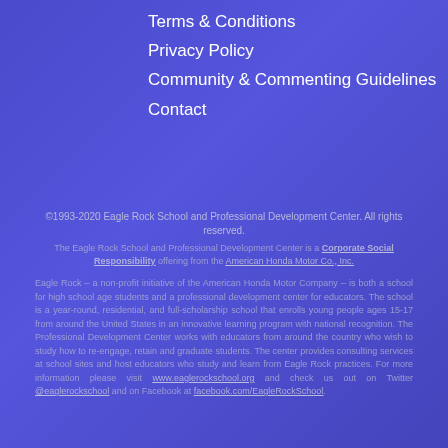Terms & Conditions
Privacy Policy
Community & Commenting Guidelines
Contact
©1993-2020 Eagle Rock School and Professional Development Center. All rights reserved.
The Eagle Rock School and Professional Development Center is a Corporate Social Responsibility offering from the American Honda Motor Co., Inc.
Eagle Rock – a non-profit initiative of the American Honda Motor Company – is both a school for high school age students and a professional development center for educators. The school is a year-round, residential, and full-scholarship school that enrolls young people ages 15-17 from around the United States in an innovative learning program with national recognition. The Professional Development Center works with educators from around the country who wish to study how to re-engage, retain and graduate students. The center provides consulting services at school sites and host educators who study and learn from Eagle Rock practices. For more information please visit www.eaglerockschool.org and check us out on Twitter @eaglerockschool and on Facebook at facebook.com/EagleRockSchool.